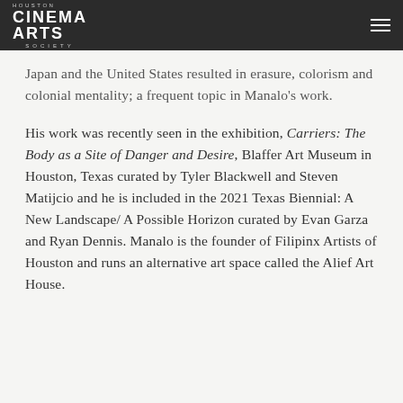Houston Cinema Arts Society
Japan and the United States resulted in erasure, colorism and colonial mentality; a frequent topic in Manalo’s work.
His work was recently seen in the exhibition, Carriers: The Body as a Site of Danger and Desire, Blaffer Art Museum in Houston, Texas curated by Tyler Blackwell and Steven Matijcio and he is included in the 2021 Texas Biennial: A New Landscape/ A Possible Horizon curated by Evan Garza and Ryan Dennis. Manalo is the founder of Filipinx Artists of Houston and runs an alternative art space called the Alief Art House.